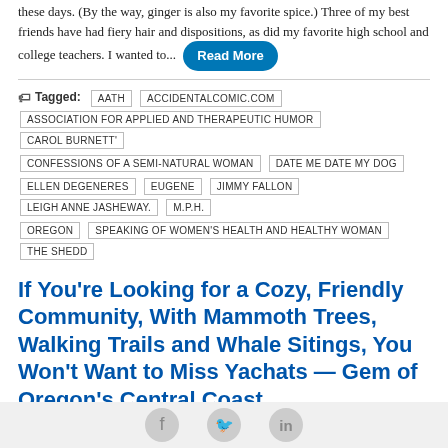these days. (By the way, ginger is also my favorite spice.) Three of my best friends have had fiery hair and dispositions, as did my favorite high school and college teachers. I wanted to... Read More
Tagged: AATH, ACCIDENTALCOMIC.COM, ASSOCIATION FOR APPLIED AND THERAPEUTIC HUMOR, CAROL BURNETT', CONFESSIONS OF A SEMI-NATURAL WOMAN, DATE ME DATE MY DOG, ELLEN DEGENERES, EUGENE, JIMMY FALLON, LEIGH ANNE JASHEWAY., M.P.H., OREGON, SPEAKING OF WOMEN'S HEALTH AND HEALTHY WOMAN, THE SHEDD
If You're Looking for a Cozy, Friendly Community, With Mammoth Trees, Walking Trails and Whale Sitings, You Won't Want to Miss Yachats — Gem of Oregon's Central Coast
Linda Ballou   July 31st, 2014
Travel Columns, Expert Columns, Adventure Travel
By Linda Ballou NABBW's Adventure Travel Associate Yachats (pronounced Yah-hots) is a Chinook name that means dark water. Nestled at the foot of spruce-sheathed mountains overlooking the
[Figure (other): Social sharing icons bar at bottom of page: Facebook, Twitter, LinkedIn circles on grey background]